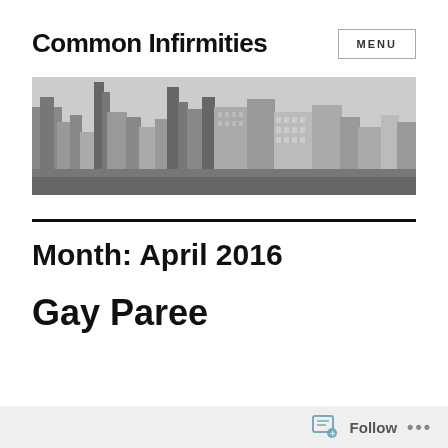Common Infirmities
[Figure (photo): Black and white aerial cityscape photo showing dense skyscrapers and high-rise buildings.]
Month: April 2016
Gay Paree
Follow ...